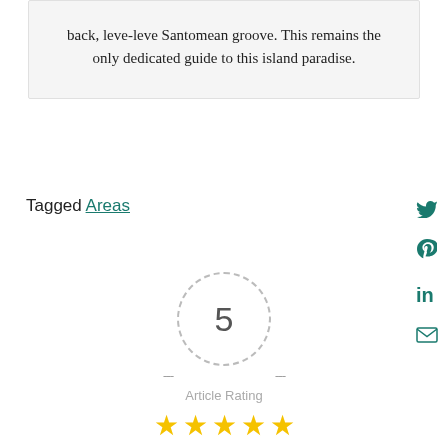back, leve-leve Santomean groove. This remains the only dedicated guide to this island paradise.
Tagged Areas
[Figure (infographic): Rating widget showing number 5 inside a dashed circle with horizontal dashes on each side, label 'Article Rating', and five gold stars below.]